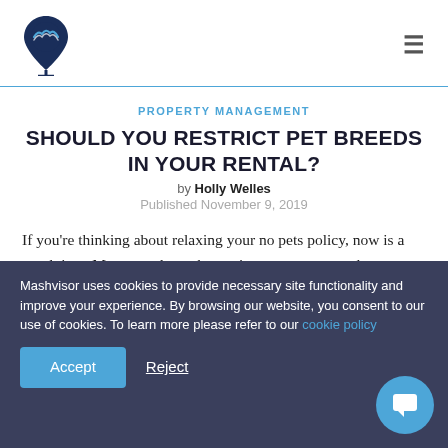Mashvisor logo and navigation
PROPERTY MANAGEMENT
SHOULD YOU RESTRICT PET BREEDS IN YOUR RENTAL?
by Holly Welles
Published November 9, 2019
If you're thinking about relaxing your no pets policy, now is a good time. More people are becoming pet owners, and many young renters see their pets as family. Opening your
Mashvisor uses cookies to provide necessary site functionality and improve your experience. By browsing our website, you consent to our use of cookies. To learn more please refer to our cookie policy